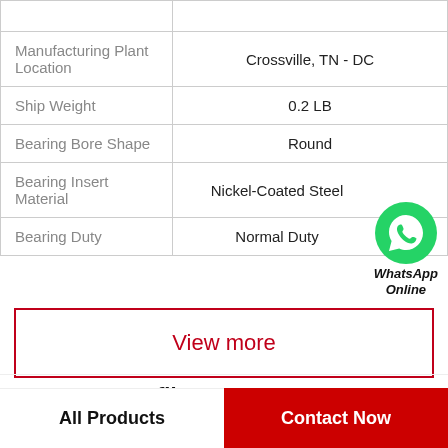| Property | Value |
| --- | --- |
| Manufacturing Plant Location | Crossville, TN - DC |
| Ship Weight | 0.2 LB |
| Bearing Bore Shape | Round |
| Bearing Insert Material | Nickel-Coated Steel |
| Bearing Duty | Normal Duty |
[Figure (logo): WhatsApp Online logo with green phone icon and italic bold text 'WhatsApp Online']
View more
Company Profile
All Products
Contact Now